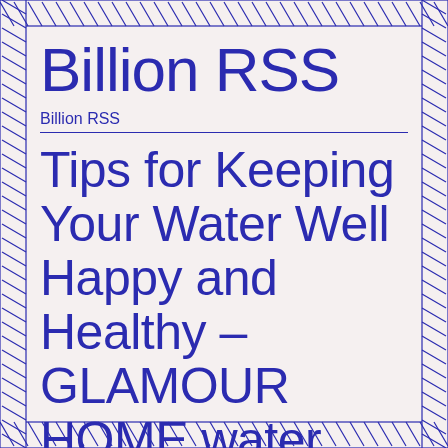Billion RSS
Billion RSS
Tips for Keeping Your Water Well Happy and Healthy – GLAMOUR HOME water well driller backyard water well deep well pumps